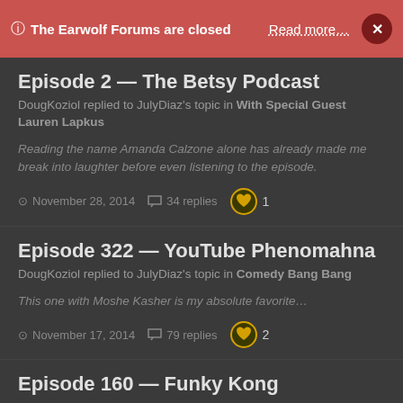ⓘ The Earwolf Forums are closed  Read more…  ×
Episode 2 — The Betsy Podcast
DougKoziol replied to JulyDiaz's topic in With Special Guest Lauren Lapkus
Reading the name Amanda Calzone alone has already made me break into laughter before even listening to the episode.
November 28, 2014  34 replies  1
Episode 322 — YouTube Phenomahna
DougKoziol replied to JulyDiaz's topic in Comedy Bang Bang
This one with Moshe Kasher is my absolute favorite…
November 17, 2014  79 replies  2
Episode 160 — Funky Kong
DougKoziol replied to JulyDiaz's topic in improv4humans